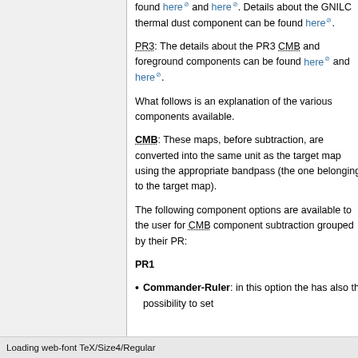found here and here. Details about the GNILC thermal dust component can be found here.
PR3: The details about the PR3 CMB and foreground components can be found here and here.
What follows is an explanation of the various components available.
CMB: These maps, before subtraction, are converted into the same unit as the target map using the appropriate bandpass (the one belonging to the target map).
The following component options are available to the user for CMB component subtraction grouped by their PR:
PR1
Commander-Ruler: in this option the has also the possibility to set